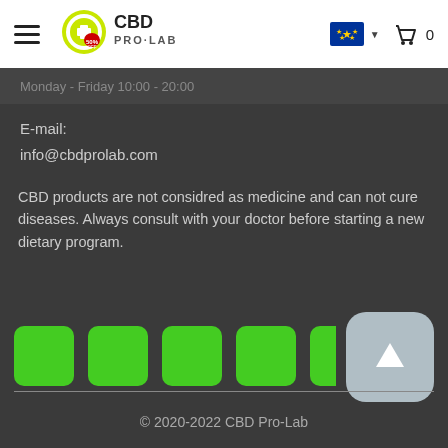[Figure (logo): CBD Pro-Lab logo with green/yellow circular emblem and text 'CBD PRO-LAB']
Monday - Friday 10:00 - 20:00
E-mail:
info@cbdprolab.com
CBD products are not considred as medicine and can not cure diseases. Always consult with your doctor before starting a new dietary program.
[Figure (infographic): Four green rounded square social media icons in a row, partially cut off on right]
[Figure (other): Light grey rounded square back-to-top button with white upward arrow]
© 2020-2022 CBD Pro-Lab